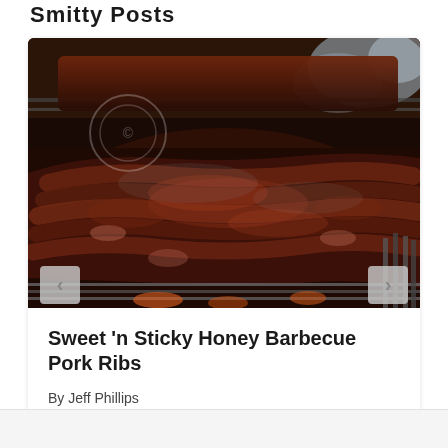Smitty Posts
[Figure (photo): Close-up photo of BBQ pork ribs on a grill grate, covered in dark rub and sauce, with smoke visible, navigation arrows (left and right) overlaid at the bottom corners of the image.]
Sweet ‘n Sticky Honey Barbecue Pork Ribs
By Jeff Phillips